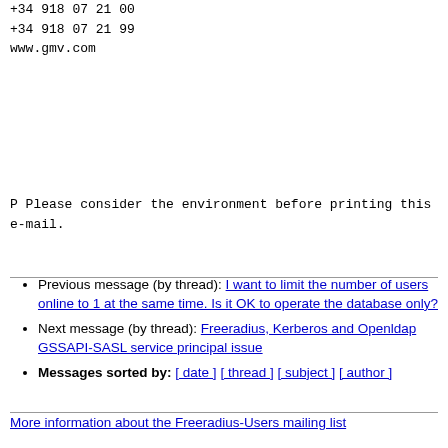+34 918 07 21 00
+34 918 07 21 99
www.gmv.com
P Please consider the environment before printing this e-mail.
Previous message (by thread): I want to limit the number of users online to 1 at the same time. Is it OK to operate the database only?
Next message (by thread): Freeradius, Kerberos and Openldap GSSAPI-SASL service principal issue
Messages sorted by: [ date ] [ thread ] [ subject ] [ author ]
More information about the Freeradius-Users mailing list